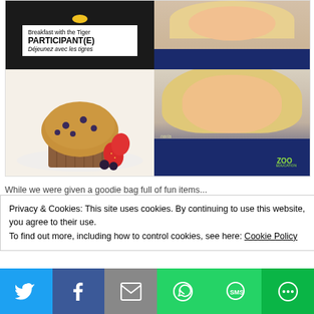[Figure (photo): Collage of four images: top-left shows a black bag with a white badge card reading 'Breakfast with the Tiger PARTICIPANT(E) Déjeunez avec les tigres'; top-right and bottom-right show a smiling young woman with blonde hair wearing a navy ZOO Education shirt; bottom-left shows a blueberry muffin with strawberries and blackberries on a white plate.]
While we were given a goodie bag full of fun items...
Privacy & Cookies: This site uses cookies. By continuing to use this website, you agree to their use.
To find out more, including how to control cookies, see here: Cookie Policy
[Figure (infographic): Social sharing bar with buttons for Twitter, Facebook, Email, WhatsApp, SMS, and More options.]